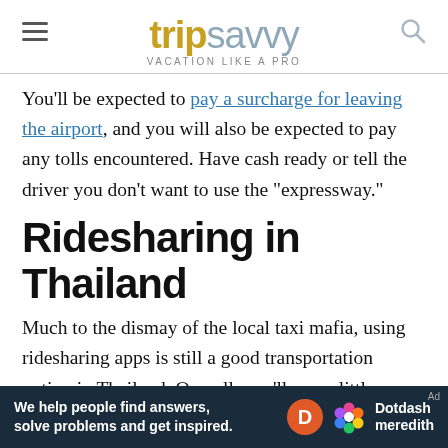tripsavvy VACATION LIKE A PRO
You'll be expected to pay a surcharge for leaving the airport, and you will also be expected to pay any tolls encountered. Have cash ready or tell the driver you don't want to use the "expressway."
Ridesharing in Thailand
Much to the dismay of the local taxi mafia, using ridesharing apps is still a good transportation option in Thailand. Overall, you'll pay a little more, however, you won't have to deal with a dirty driver showing you
[Figure (logo): Dotdash Meredith advertisement banner at bottom of page]